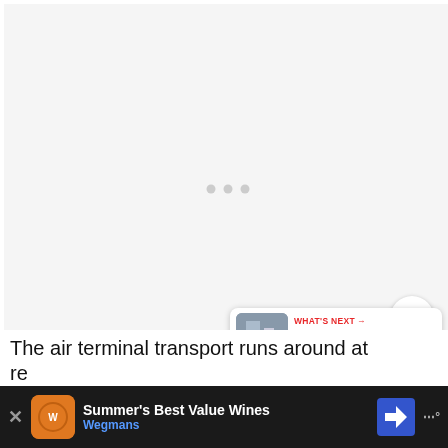[Figure (photo): Large image placeholder area with light gray background and three small loading dots centered in the middle]
[Figure (infographic): Red circular like/heart button with count 260 and a share button below it on the right side]
[Figure (infographic): What's Next card showing a thumbnail and text '17 Best Resorts in...' with red label 'WHAT'S NEXT →']
The air terminal transport runs around at re...
[Figure (infographic): Dark advertisement banner at bottom: Summer's Best Value Wines by Wegmans with orange logo and blue arrow icon]